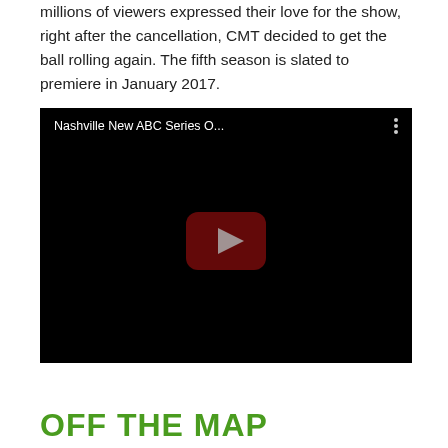millions of viewers expressed their love for the show, right after the cancellation, CMT decided to get the ball rolling again. The fifth season is slated to premiere in January 2017.
[Figure (screenshot): YouTube video embed showing 'Nashville New ABC Series O...' with a dark/black background, a YouTube play button (red rounded rectangle with white triangle) centered in the frame, and a three-dot menu icon in the top right.]
OFF THE MAP